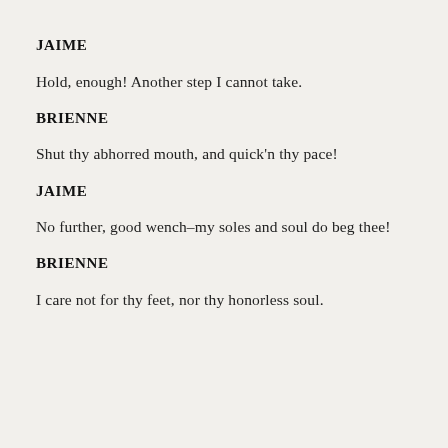JAIME
Hold, enough! Another step I cannot take.
BRIENNE
Shut thy abhorred mouth, and quick'n thy pace!
JAIME
No further, good wench–my soles and soul do beg thee!
BRIENNE
I care not for thy feet, nor thy honorless soul.